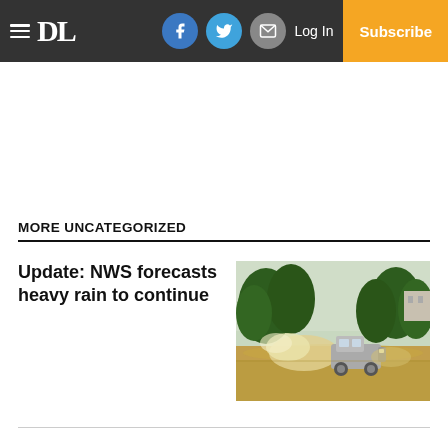DL — Daily Leader navigation bar with social icons (Facebook, Twitter, Email), Log In, Subscribe
MORE UNCATEGORIZED
Update: NWS forecasts heavy rain to continue
[Figure (photo): A truck driving through floodwater on a residential street lined with large trees, creating a large splash of muddy water.]